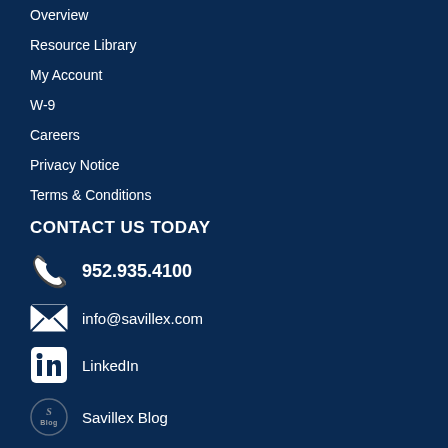Overview
Resource Library
My Account
W-9
Careers
Privacy Notice
Terms & Conditions
CONTACT US TODAY
952.935.4100
info@savillex.com
LinkedIn
Savillex Blog